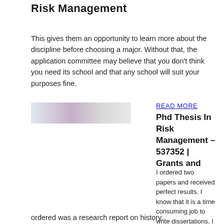Risk Management
This gives them an opportunity to learn more about the discipline before choosing a major. Without that, the application committee may believe that you don't think you need its school and that any school will suit your purposes fine.
[Figure (photo): Blurred/redacted thumbnail image with light blue and purple tones]
READ MORE
Phd Thesis In Risk Management – 537352 | Grants and
I ordered two papers and received perfect results. I know that it is a time consuming job to write dissertations. I had no time to compete my dissertation, but my friend recommended this website. The second paper I ordered was a research report on history.